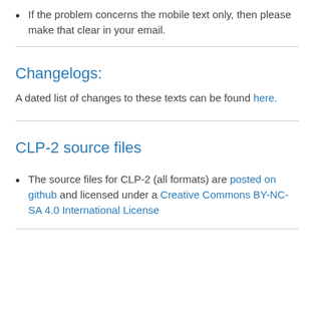If the problem concerns the mobile text only, then please make that clear in your email.
Changelogs:
A dated list of changes to these texts can be found here.
CLP-2 source files
The source files for CLP-2 (all formats) are posted on github and licensed under a Creative Commons BY-NC-SA 4.0 International License